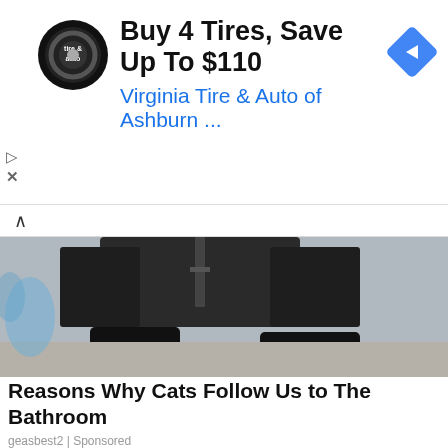[Figure (other): Advertisement banner: circular tire & auto logo on left, headline 'Buy 4 Tires, Save Up To $110', subline 'Virginia Tire & Auto of Ashburn ...', blue diamond navigation icon on right, play and close controls on left edge]
[Figure (photo): Partial photograph showing person's midsection/lower body in dark jacket and shoes, with a concrete or light-colored surface visible]
Reasons Why Cats Follow Us to The Bathroom
geasbest2 | Sponsored
[Figure (photo): Aerial or wide-angle photograph of a large parking lot filled with many white and light-colored cars, with hills and cloudy sky in the background]